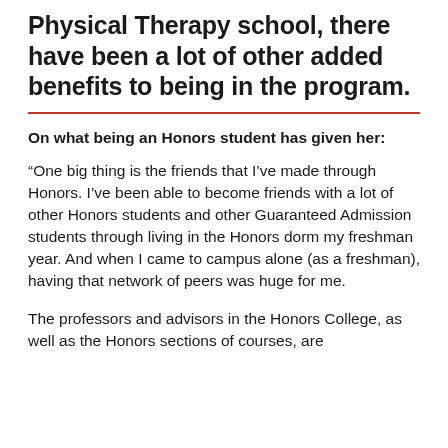Physical Therapy school, there have been a lot of other added benefits to being in the program.
On what being an Honors student has given her:
“One big thing is the friends that I’ve made through Honors. I’ve been able to become friends with a lot of other Honors students and other Guaranteed Admission students through living in the Honors dorm my freshman year. And when I came to campus alone (as a freshman), having that network of peers was huge for me.
The professors and advisors in the Honors College, as well as the Honors sections of courses, are